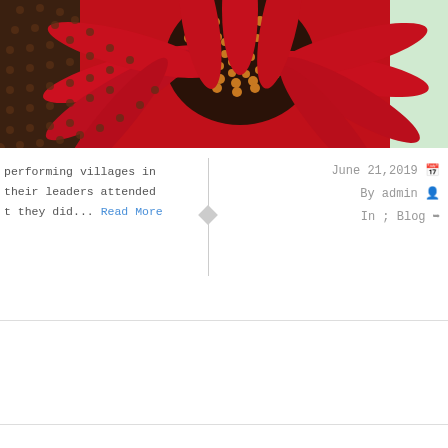[Figure (photo): Close-up photo of a red sunflower with dark seeds at the center and bright red petals, partially cropped]
performing villages in their leaders attended t they did... Read More
June 21,2019
By admin
In ; Blog